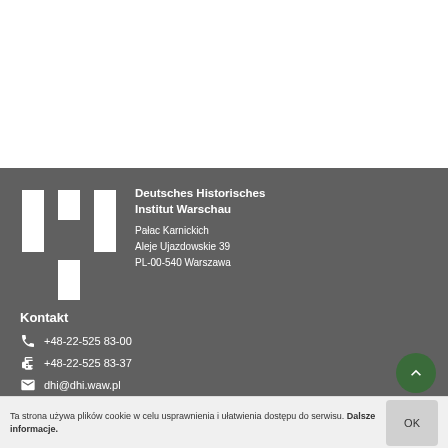[Figure (logo): DHI logo — three white vertical bars forming the letters IHI on dark grey background]
Deutsches Historisches Institut Warschau
Pałac Karnickich
Aleje Ujazdowskie 39
PL-00-540 Warszawa
Kontakt
+48-22-525 83-00
+48-22-525 83-37
dhi@dhi.waw.pl
Facebook
Ta strona używa plików cookie w celu usprawnienia i ułatwienia dostępu do serwisu. Dalsze informacje.
OK